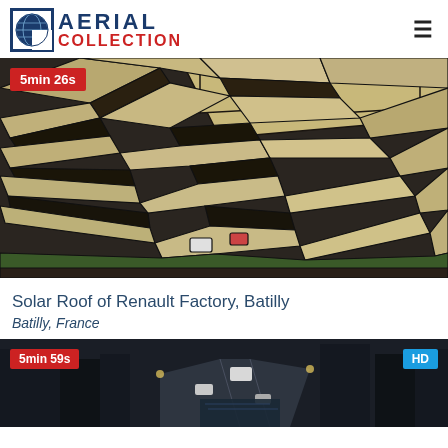AERIAL COLLECTION
[Figure (photo): Aerial view of solar roof panels on Renault Factory at Batilly, France. Red badge showing duration '5min 26s' in top left.]
Solar Roof of Renault Factory, Batilly
Batilly, France
[Figure (photo): Aerial view of a street/highway scene, partial view. Red badge showing '5min 59s' bottom left, blue HD badge bottom right.]